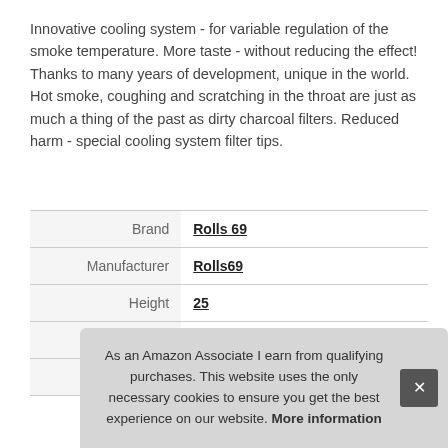Innovative cooling system - for variable regulation of the smoke temperature. More taste - without reducing the effect! Thanks to many years of development, unique in the world. Hot smoke, coughing and scratching in the throat are just as much a thing of the past as dirty charcoal filters. Reduced harm - special cooling system filter tips.
| Brand | Rolls 69 |
| Manufacturer | Rolls69 |
| Height | 25 |
| Length | 220 |
| P |  |
As an Amazon Associate I earn from qualifying purchases. This website uses the only necessary cookies to ensure you get the best experience on our website. More information